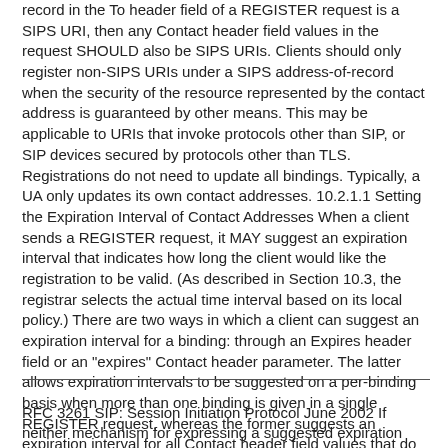record in the To header field of a REGISTER request is a SIPS URI, then any Contact header field values in the request SHOULD also be SIPS URIs. Clients should only register non-SIPS URIs under a SIPS address-of-record when the security of the resource represented by the contact address is guaranteed by other means. This may be applicable to URIs that invoke protocols other than SIP, or SIP devices secured by protocols other than TLS. Registrations do not need to update all bindings. Typically, a UA only updates its own contact addresses. 10.2.1.1 Setting the Expiration Interval of Contact Addresses When a client sends a REGISTER request, it MAY suggest an expiration interval that indicates how long the client would like the registration to be valid. (As described in Section 10.3, the registrar selects the actual time interval based on its local policy.) There are two ways in which a client can suggest an expiration interval for a binding: through an Expires header field or an "expires" Contact header parameter. The latter allows expiration intervals to be suggested on a per-binding basis when more than one binding is given in a single REGISTER request, whereas the former suggests an expiration interval for all Contact header field values that do not contain the "expires" parameter. Rosenberg, et. al. Standards Track [Page 60]
RFC 3261 SIP: Session Initiation Protocol June 2002 If neither mechanism for expressing a suggested expiration